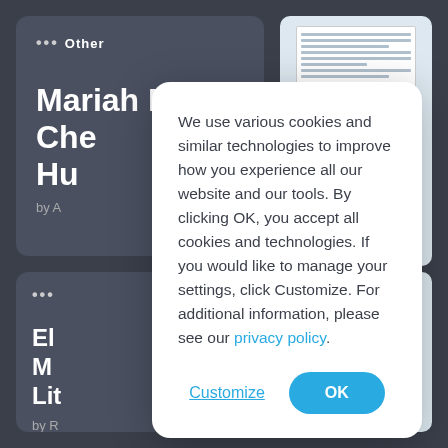[Figure (screenshot): Background showing a web application interface with dark sidebar cards displaying document titles and a cookie consent modal dialog in the foreground]
We use various cookies and similar technologies to improve how you experience all our website and our tools. By clicking OK, you accept all cookies and technologies. If you would like to manage your settings, click Customize. For additional information, please see our privacy policy.
Customize
OK